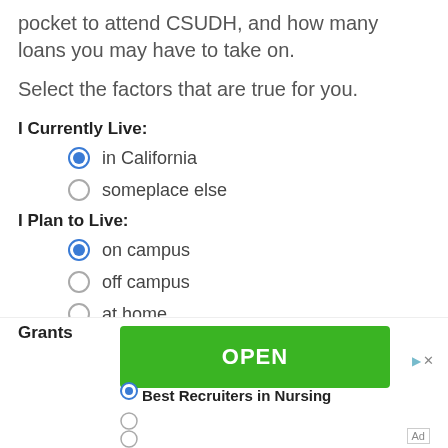pocket to attend CSUDH, and how many loans you may have to take on.
Select the factors that are true for you.
I Currently Live:
in California (selected)
someplace else
I Plan to Live:
on campus (selected)
off campus
at home
Grants
[Figure (infographic): Advertisement banner with green OPEN button and text 'Best Recruiters in Nursing']